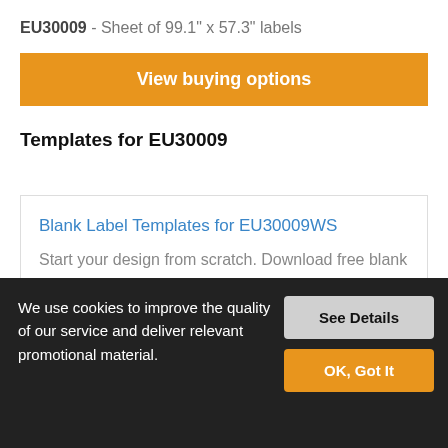EU30009 - Sheet of 99.1" x 57.3" labels
View buying options
Templates for EU30009
Blank Label Templates for EU30009WS
Start your design from scratch. Download free blank label templates for Microsoft Word, PDF, or OpenOffice.
We use cookies to improve the quality of our service and deliver relevant promotional material.
See Details
OK, Got It
Helpful Articles & Common Uses for EU30009WS